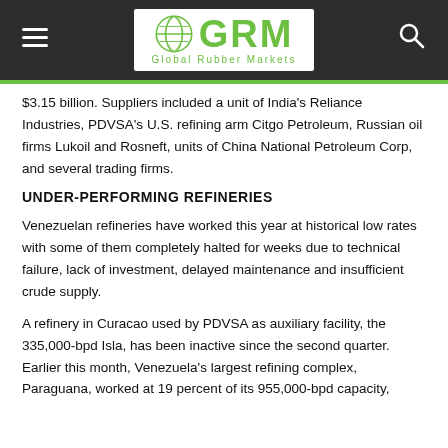GRM Global Rubber Markets
$3.15 billion. Suppliers included a unit of India's Reliance Industries, PDVSA's U.S. refining arm Citgo Petroleum, Russian oil firms Lukoil and Rosneft, units of China National Petroleum Corp, and several trading firms.
UNDER-PERFORMING REFINERIES
Venezuelan refineries have worked this year at historical low rates with some of them completely halted for weeks due to technical failure, lack of investment, delayed maintenance and insufficient crude supply.
A refinery in Curacao used by PDVSA as auxiliary facility, the 335,000-bpd Isla, has been inactive since the second quarter. Earlier this month, Venezuela's largest refining complex, Paraguana, worked at 19 percent of its 955,000-bpd capacity,